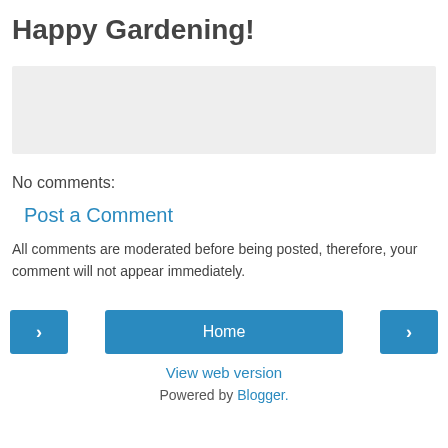Happy Gardening!
[Figure (other): Light gray empty rectangle, likely a comment input or ad area]
No comments:
Post a Comment
All comments are moderated before being posted, therefore, your comment will not appear immediately.
‹  Home  ›
View web version
Powered by Blogger.